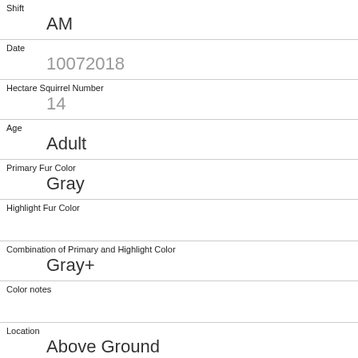Shift
AM
Date
10072018
Hectare Squirrel Number
14
Age
Adult
Primary Fur Color
Gray
Highlight Fur Color
Combination of Primary and Highlight Color
Gray+
Color notes
Location
Above Ground
Above Ground Sighter Measurement
50